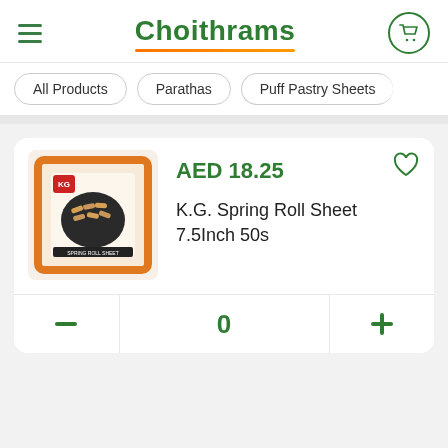Choithrams
All Products
Parathas
Puff Pastry Sheets
[Figure (photo): Product image of K.G. Spring Roll Sheet 7.5Inch 50s in orange packaging on a white background]
AED 18.25
K.G. Spring Roll Sheet 7.5Inch 50s
0